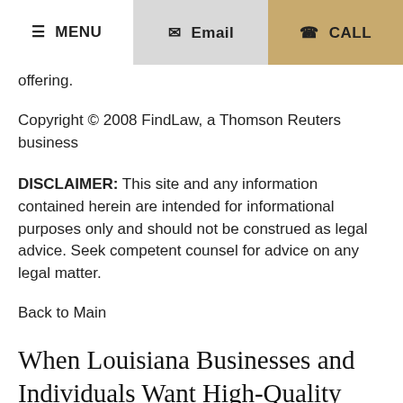≡ MENU  ✉ Email  ☎ CALL
offering.
Copyright © 2008 FindLaw, a Thomson Reuters business
DISCLAIMER: This site and any information contained herein are intended for informational purposes only and should not be construed as legal advice. Seek competent counsel for advice on any legal matter.
Back to Main
When Louisiana Businesses and Individuals Want High-Quality Legal